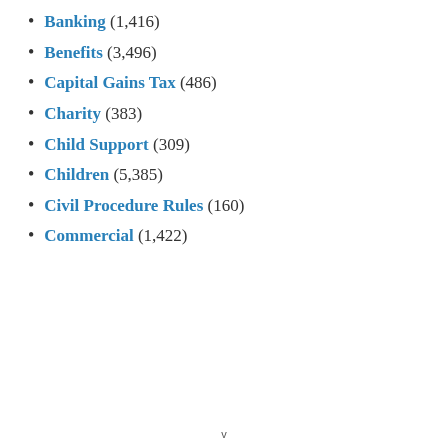Banking (1,416)
Benefits (3,496)
Capital Gains Tax (486)
Charity (383)
Child Support (309)
Children (5,385)
Civil Procedure Rules (160)
Commercial (1,422)
[Figure (screenshot): Chat bubble widget with teal background showing text 'Want to ask a Solicitor online now? I can connect you ...' with a circular avatar photo of a woman on the right side]